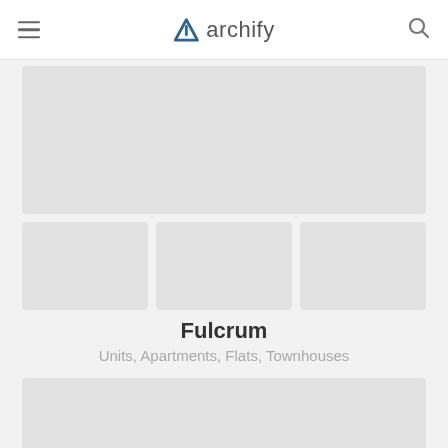archify
[Figure (photo): Large gray placeholder image at top]
[Figure (photo): Small gray placeholder image, left]
[Figure (photo): Small gray placeholder image, center]
[Figure (photo): Small gray placeholder image, right]
Fulcrum
Units, Apartments, Flats, Townhouses
[Figure (photo): Large gray placeholder image at bottom]